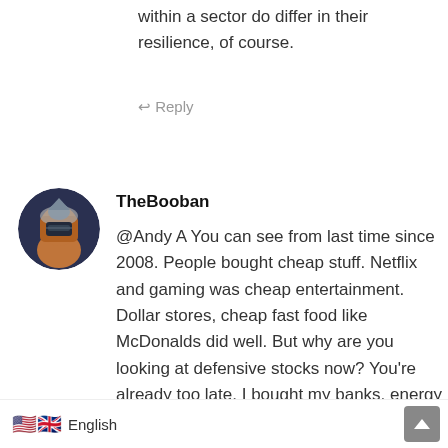within a sector do differ in their resilience, of course.
↩ Reply
TheBooban
@Andy A You can see from last time since 2008. People bought cheap stuff. Netflix and gaming was cheap entertainment. Dollar stores, cheap fast food like McDonalds did well. But why are you looking at defensive stocks now? You're already too late. I bought my banks, energy and nuclear stocks last year.
But most importantly, Sven is right. It will me down to a good company at a low price. Why dream up other things to
🇺🇸🇬🇧 English